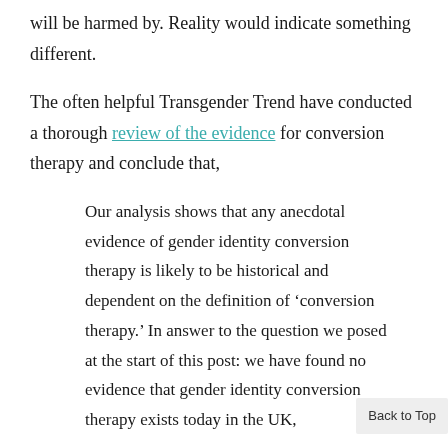will be harmed by. Reality would indicate something different.
The often helpful Transgender Trend have conducted a thorough review of the evidence for conversion therapy and conclude that,
Our analysis shows that any anecdotal evidence of gender identity conversion therapy is likely to be historical and dependent on the definition of ‘conversion therapy.’ In answer to the question we posed at the start of this post: we have found no evidence that gender identity conversion therapy exists today in the UK,